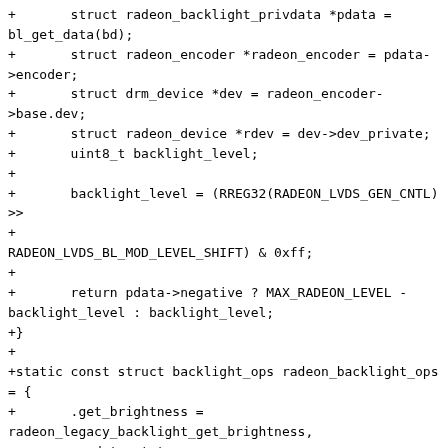+       struct radeon_backlight_privdata *pdata = bl_get_data(bd);
+       struct radeon_encoder *radeon_encoder = pdata->encoder;
+       struct drm_device *dev = radeon_encoder->base.dev;
+       struct radeon_device *rdev = dev->dev_private;
+       uint8_t backlight_level;
+
+       backlight_level = (RREG32(RADEON_LVDS_GEN_CNTL) >>
RADEON_LVDS_BL_MOD_LEVEL_SHIFT) & 0xff;
+
+       return pdata->negative ? MAX_RADEON_LEVEL - backlight_level : backlight_level;
+}
+
+static const struct backlight_ops radeon_backlight_ops = {
+       .get_brightness = radeon_legacy_backlight_get_brightness,
+       .update_status = radeon_legacy_backlight_update_status,
+};
+
+void radeon_legacy_backlight_init(struct radeon_encoder *radeon_encoder,
+                                       struct drm_connector *drm_connector)